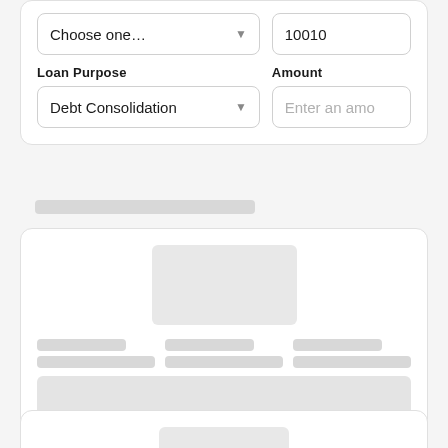[Figure (screenshot): Loan application form with two rows of fields. Top row shows a dropdown (Choose one...) and a text field showing 10010. Bottom row shows Loan Purpose label with Debt Consolidation dropdown and Amount label with Enter an amo placeholder input.]
[Figure (screenshot): Loading skeleton card showing a gray rectangle placeholder image, three columns of skeleton text bars, a tall skeleton description block, and a skeleton link bar.]
[Figure (screenshot): Partial loading skeleton card at bottom of page showing start of another skeleton image placeholder.]